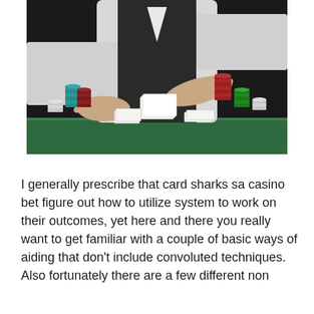[Figure (photo): A casino dealer in a white shirt and black vest handling playing cards and casino chips on a green felt table. Multiple stacks of colored chips (teal, red, maroon, green, white) are visible on both sides. The dealer's hands are in motion arranging cards.]
I generally prescribe that card sharks sa casino bet figure out how to utilize system to work on their outcomes, yet here and there you really want to get familiar with a couple of basic ways of aiding that don't include convoluted techniques. Also fortunately there are a few different non